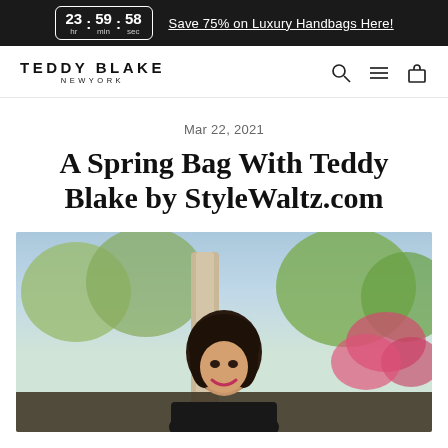23 hr : 59 min : 58 sec  Save 75% on Luxury Handbags Here!
[Figure (logo): Teddy Blake New York logo with navigation icons (search, menu, cart)]
Mar 22, 2021
A Spring Bag With Teddy Blake by StyleWaltz.com
[Figure (photo): Outdoor photo of a woman with dark hair smiling, surrounded by trees and pink flowering bushes]